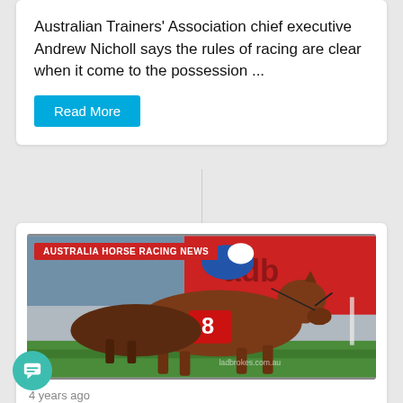Australian Trainers' Association chief executive Andrew Nicholl says the rules of racing are clear when it come to the possession ...
Read More
[Figure (photo): Horse racing photo showing a racehorse with number 8 saddlecloth racing at full gallop, with jockey aboard, against a red advertising banner backdrop. Overlay badge reads AUSTRALIA HORSE RACING NEWS.]
4 years ago